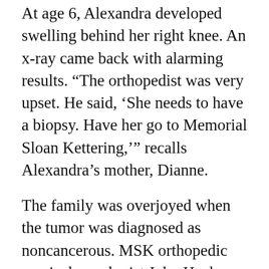At age 6, Alexandra developed swelling behind her right knee. An x-ray came back with alarming results. “The orthopedist was very upset. He said, ‘She needs to have a biopsy. Have her go to Memorial Sloan Kettering,’” recalls Alexandra’s mother, Dianne.
The family was overjoyed when the tumor was diagnosed as noncancerous. MSK orthopedic surgical oncologist John Healey removed the growth, and Alexandra wore a cast for several months as her leg healed.
A Rapid Return
Seven months later, the family was on a Disney